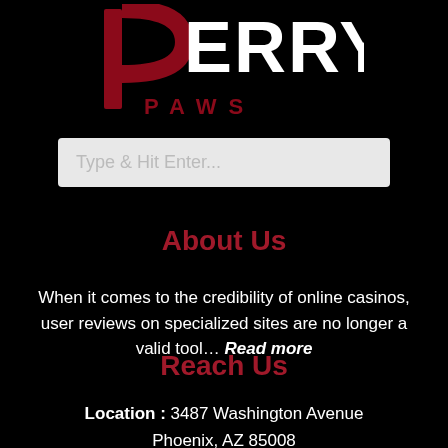[Figure (logo): Perry Paws logo — stylized P with red bar on left, white PERRY text, PAWS text below in spaced letters, dark red color scheme on black background]
Type & Hit Enter...
About Us
When it comes to the credibility of online casinos, user reviews on specialized sites are no longer a valid tool… Read more
Reach Us
Location : 3487 Washington Avenue Phoenix, AZ 85008